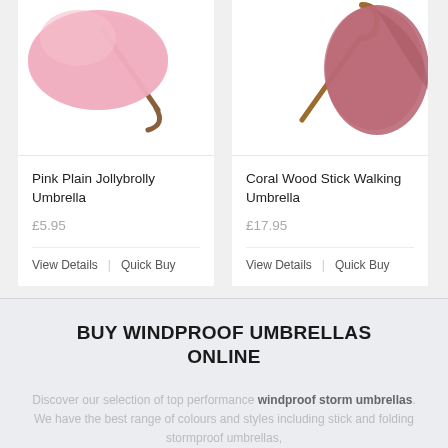[Figure (photo): Pink Plain Jollybrolly Umbrella product image showing a pink umbrella partially visible]
Pink Plain Jollybrolly Umbrella
£5.95
View Details | Quick Buy
[Figure (photo): Coral Wood Stick Walking Umbrella product image showing a coral/mauve umbrella with wooden handle]
Coral Wood Stick Walking Umbrella
£17.95
View Details | Quick Buy
BUY WINDPROOF UMBRELLAS ONLINE
Discover our selection of top performance windproof storm umbrellas. We have the best range of colours and styles including stick and folding stormproof umbrellas,